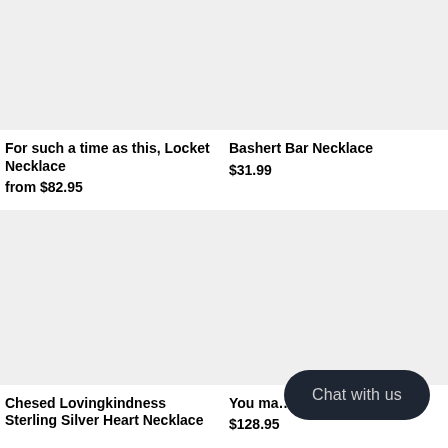[Figure (photo): Product image placeholder – light gray rectangle for 'For such a time as this, Locket Necklace']
For such a time as this, Locket Necklace
from $82.95
[Figure (photo): Product image placeholder – light gray rectangle for 'Bashert Bar Necklace']
Bashert Bar Necklace
$31.99
[Figure (photo): Product image placeholder – light gray rectangle for 'Chesed Lovingkindness Sterling Silver Heart Necklace']
Chesed Lovingkindness Sterling Silver Heart Necklace
[Figure (photo): Product image placeholder – light gray rectangle for partially visible product]
You ma… bracelet
$128.95
Chat with us